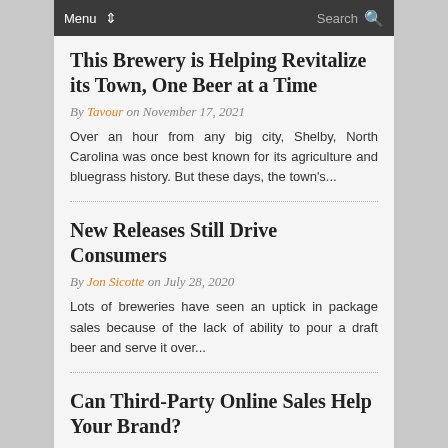Menu  Search
This Brewery is Helping Revitalize its Town, One Beer at a Time
By Tavour on November 17, 2021
Over an hour from any big city, Shelby, North Carolina was once best known for its agriculture and bluegrass history. But these days, the town's...
New Releases Still Drive Consumers
By Jon Sicotte on July 28, 2020
Lots of breweries have seen an uptick in package sales because of the lack of ability to pour a draft beer and serve it over...
Can Third-Party Online Sales Help Your Brand?
By Jon Sicotte on June 30, 2020